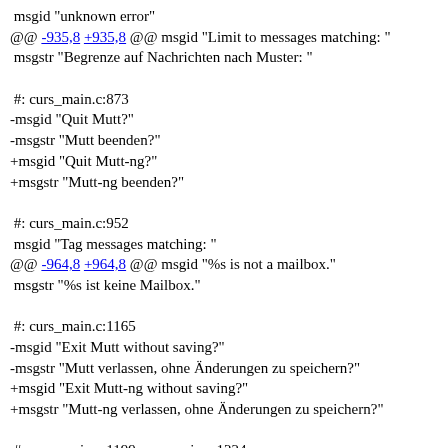msgid "unknown error"
@@ -935,8 +935,8 @@ msgid "Limit to messages matching: "
 msgstr "Begrenze auf Nachrichten nach Muster: "
#: curs_main.c:873
-msgid "Quit Mutt?"
-msgstr "Mutt beenden?"
+msgid "Quit Mutt-ng?"
+msgstr "Mutt-ng beenden?"
#: curs_main.c:952
 msgid "Tag messages matching: "
@@ -964,8 +964,8 @@ msgid "%s is not a mailbox."
 msgstr "%s ist keine Mailbox."
#: curs_main.c:1165
-msgid "Exit Mutt without saving?"
-msgstr "Mutt verlassen, ohne Änderungen zu speichern?"
+msgid "Exit Mutt-ng without saving?"
+msgstr "Mutt-ng verlassen, ohne Änderungen zu speichern?"
#: curs_main.c:1199 curs_main.c:1224
 msgid "You are on the last message."
Fork of Mutt-ng that was a fork of Mutt in the first place.
RSS Atom